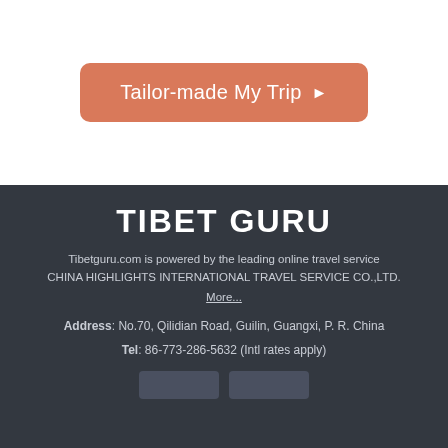[Figure (other): Button with salmon/terracotta background reading 'Tailor-made My Trip ▶']
TIBET GURU
Tibetguru.com is powered by the leading online travel service CHINA HIGHLIGHTS INTERNATIONAL TRAVEL SERVICE CO.,LTD.
More...
Address: No.70, Qilidian Road, Guilin, Guangxi, P. R. China
Tel: 86-773-286-5632 (Intl rates apply)